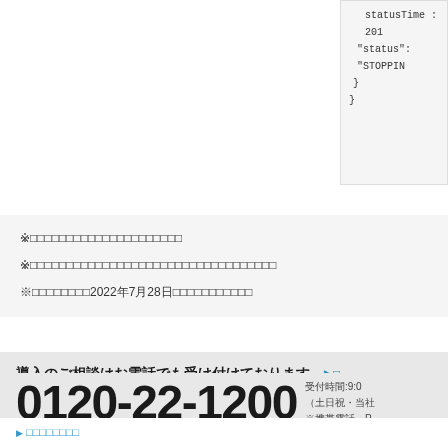[Figure (screenshot): Code block showing JSON with statusTime and status STOPPING fields]
※日本語テキスト（文字化け）- 注意事項1
※日本語テキスト（文字化け）- 注意事項2
※日本語テキスト2022年7月28日（文字化け）
導入のご相談はお電話でも受け付けております。
0120-22-1200
受付時間:9:00 （土日祝・当社 ※携帯電話・P
▶ □□□□□□□□
▶ □□□□
▶ □□□□□□□□□□
▶ □□□□□□□□□□
▶ □□□□□□
▶ □□□□